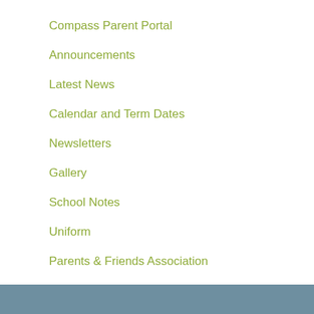Compass Parent Portal
Announcements
Latest News
Calendar and Term Dates
Newsletters
Gallery
School Notes
Uniform
Parents & Friends Association